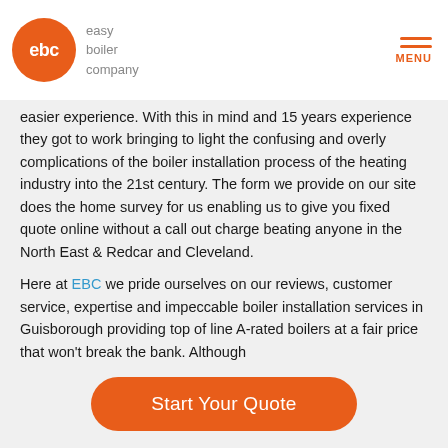easy boiler company | MENU
easier experience. With this in mind and 15 years experience they got to work bringing to light the confusing and overly complications of the boiler installation process of the heating industry into the 21st century. The form we provide on our site does the home survey for us enabling us to give you fixed quote online without a call out charge beating anyone in the North East & Redcar and Cleveland.
Here at EBC we pride ourselves on our reviews, customer service, expertise and impeccable boiler installation services in Guisborough providing top of line A-rated boilers at a fair price that won't break the bank. Although
[Figure (other): Start Your Quote button — orange rounded rectangle CTA button]